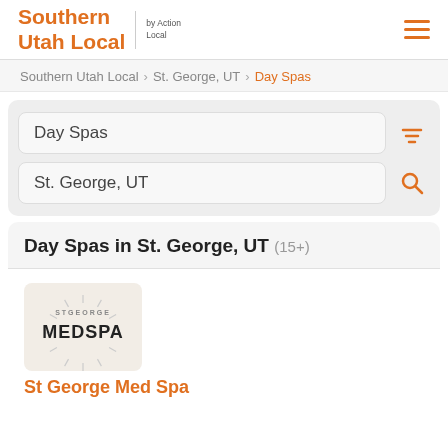Southern Utah Local by Action Local
Southern Utah Local > St. George, UT > Day Spas
Day Spas
St. George, UT
Day Spas in St. George, UT (15+)
[Figure (logo): St George MedSpa logo with sunburst graphic]
St George Med Spa